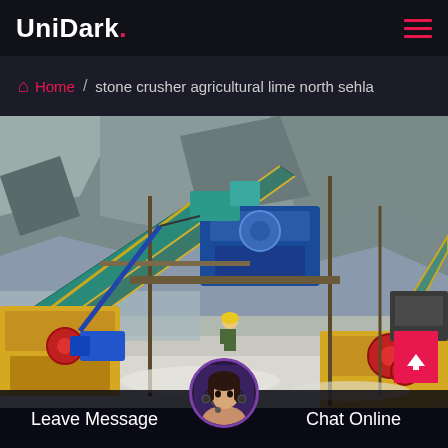UniDark.
Home / stone crusher agricultural lime north sehla
[Figure (photo): Industrial stone crusher plant with conveyor belts, blue machinery, yellow jaw crushers, and workers on site, rocky mountainous background]
Leave Message
Chat Online